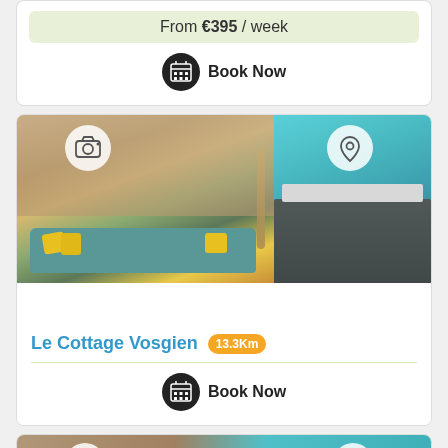From €395 / week
Book Now
[Figure (photo): Interior photo of Le Cottage Vosgien showing living area with teal sofa, yellow cushions, wood-panelled walls, spiral staircase, and kitchen area]
Le Cottage Vosgien 13.3Km
Book Now
[Figure (photo): Partial interior photo of another property listing below Le Cottage Vosgien]